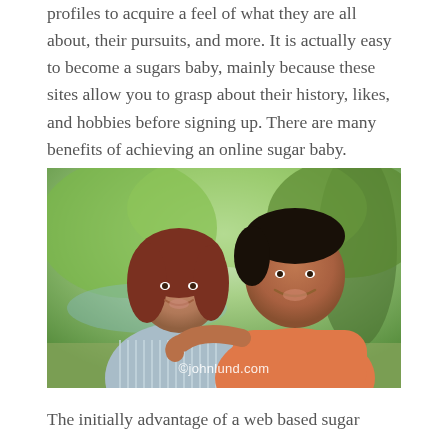profiles to acquire a feel of what they are all about, their pursuits, and more. It is actually easy to become a sugars baby, mainly because these sites allow you to grasp about their history, likes, and hobbies before signing up. There are many benefits of achieving an online sugar baby.
[Figure (photo): A smiling couple outdoors near greenery and water. A woman with reddish-brown hair wearing a blue striped shirt and a heavier man in an orange t-shirt with his arm around her. Watermark reads ©johnlund.com.]
The initially advantage of a web based sugar